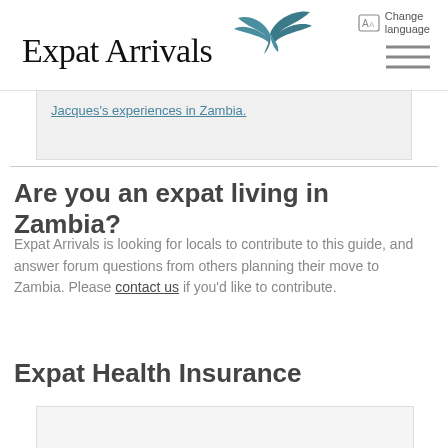Expat Arrivals
Jacques's experiences in Zambia.
Are you an expat living in Zambia?
Expat Arrivals is looking for locals to contribute to this guide, and answer forum questions from others planning their move to Zambia. Please contact us if you'd like to contribute.
Expat Health Insurance